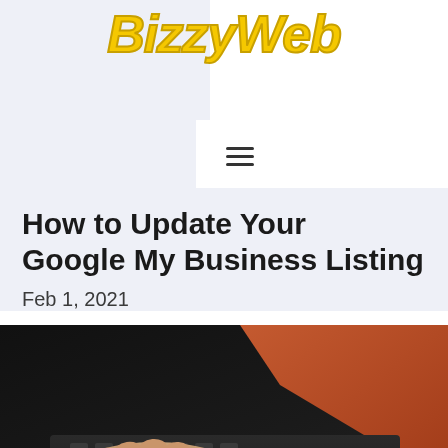[Figure (logo): BizzyWeb logo in bold yellow italic text]
How to Update Your Google My Business Listing
Feb 1, 2021
[Figure (photo): Close-up photo of hands typing on a laptop keyboard with an orange/red laptop lid visible]